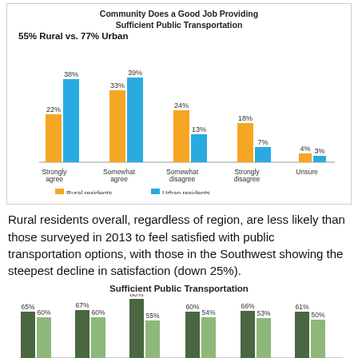[Figure (grouped-bar-chart): Community Does a Good Job Providing Sufficient Public Transportation]
Rural residents overall, regardless of region, are less likely than those surveyed in 2013 to feel satisfied with public transportation options, with those in the Southwest showing the steepest decline in satisfaction (down 25%).
[Figure (grouped-bar-chart): Sufficient Public Transportation]